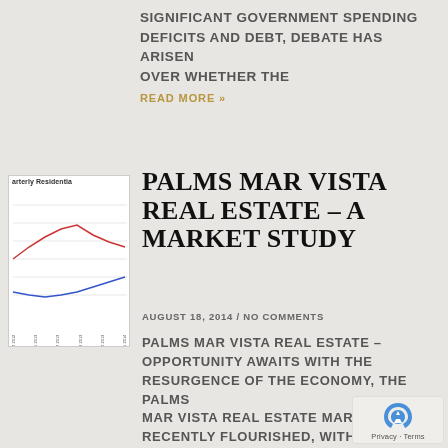SIGNIFICANT GOVERNMENT SPENDING DEFICITS AND DEBT, DEBATE HAS ARISEN OVER WHETHER THE
READ MORE »
[Figure (line-chart): Quarterly residential real estate chart showing two lines (red and blue) over time from Q4 2012 to Q1 2014]
PALMS MAR VISTA REAL ESTATE – A MARKET STUDY
AUGUST 18, 2014 / NO COMMENTS
PALMS MAR VISTA REAL ESTATE – OPPORTUNITY AWAITS WITH THE RESURGENCE OF THE ECONOMY, THE PALMS MAR VISTA REAL ESTATE MARKET HAS RECENTLY FLOURISHED, WITH